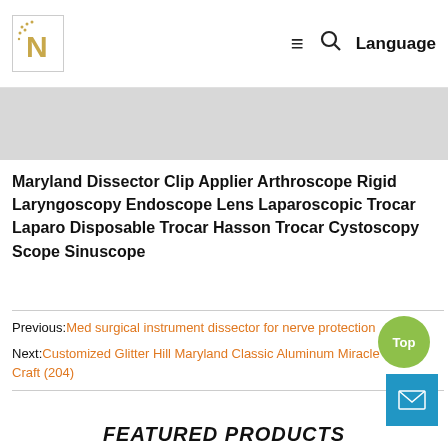N [logo] ☰ 🔍 Language
Maryland Dissector Clip Applier Arthroscope Rigid Laryngoscopy Endoscope Lens Laparoscopic Trocar Laparo Disposable Trocar Hasson Trocar Cystoscopy Scope Sinuscope
Previous: Med surgical instrument dissector for nerve protection
Next: Customized Glitter Hill Maryland Classic Aluminum Miracle Medal Craft (204)
FEATURED PRODUCTS